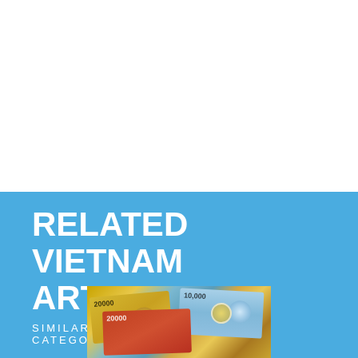RELATED VIETNAM ARTICLES
SIMILAR POSTS FROM VIETNAM CATEGORY
[Figure (photo): Vietnamese currency banknotes including 20,000 and 10,000 dong notes spread out]